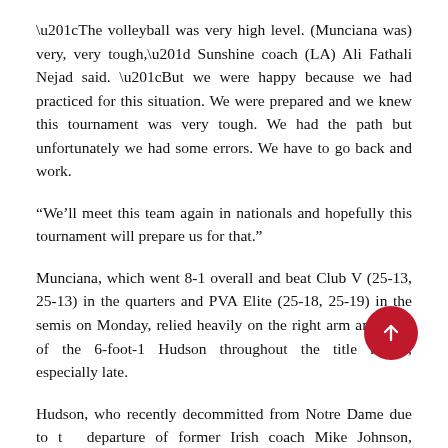“The volleyball was very high level. (Munciana was) very, very tough,” Sunshine coach (LA) Ali Fathali Nejad said. “But we were happy because we had practiced for this situation. We were prepared and we knew this tournament was very tough. We had the path but unfortunately we had some errors. We have to go back and work.
“We’ll meet this team again in nationals and hopefully this tournament will prepare us for that.”
Munciana, which went 8-1 overall and beat Club V (25-13, 25-13) in the quarters and PVA Elite (25-18, 25-19) in the semis on Monday, relied heavily on the right arm and hops of the 6-foot-1 Hudson throughout the title match, especially late.
Hudson, who recently decommitted from Notre Dame due to the departure of former Irish coach Mike Johnson, hammered home eight of her team’s 17 points in the third set.
Lingenfelter wouldn’t have it any other way.